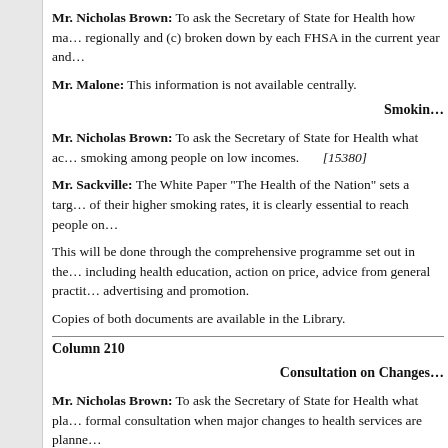Mr. Nicholas Brown: To ask the Secretary of State for Health how many... regionally and (c) broken down by each FHSA in the current year and...
Mr. Malone: This information is not available centrally.
Smoking
Mr. Nicholas Brown: To ask the Secretary of State for Health what ac... smoking among people on low incomes. [15380]
Mr. Sackville: The White Paper "The Health of the Nation" sets a targ... of their higher smoking rates, it is clearly essential to reach people on...
This will be done through the comprehensive programme set out in the... including health education, action on price, advice from general practiti... advertising and promotion.
Copies of both documents are available in the Library.
Column 210
Consultation on Changes
Mr. Nicholas Brown: To ask the Secretary of State for Health what pla... formal consultation when major changes to health services are planne...
Mr. Malone: None.
Sight Tes